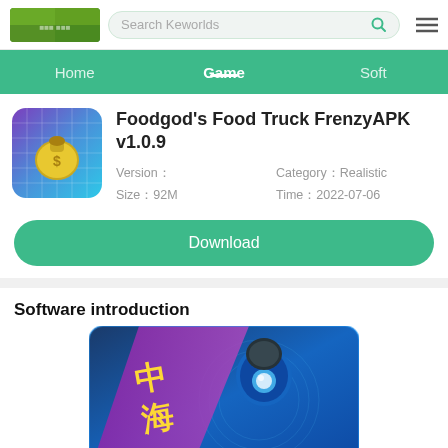Search Keworlds
Home | Game | Soft
Foodgod's Food Truck FrenzyAPK v1.0.9
Version：
Size：92M
Category：Realistic
Time：2022-07-06
Download
Software introduction
[Figure (screenshot): Game cover image with Chinese characters and armored character]